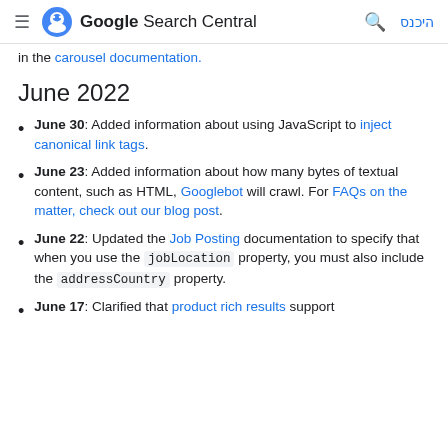≡ Google Search Central היכנס
in the carousel documentation.
June 2022
June 30: Added information about using JavaScript to inject canonical link tags.
June 23: Added information about how many bytes of textual content, such as HTML, Googlebot will crawl. For FAQs on the matter, check out our blog post.
June 22: Updated the Job Posting documentation to specify that when you use the jobLocation property, you must also include the addressCountry property.
June 17: Clarified that product rich results support